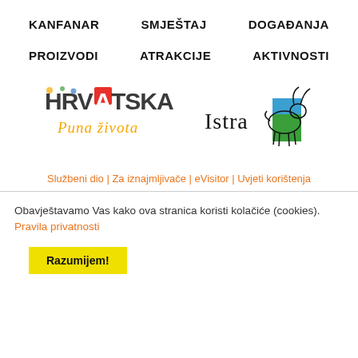KANFANAR | SMJEŠTAJ | DOGAĐANJA
PROIZVODI | ATRAKCIJE | AKTIVNOSTI
[Figure (logo): Hrvatska Puna života logo - colorful text logo with red square A]
[Figure (logo): Istra logo with goat and blue-green square]
Službeni dio | Za iznajmljivače | eVisitor | Uvjeti korištenja
Obavještavamo Vas kako ova stranica koristi kolačiće (cookies). Pravila privatnosti
Razumijem!